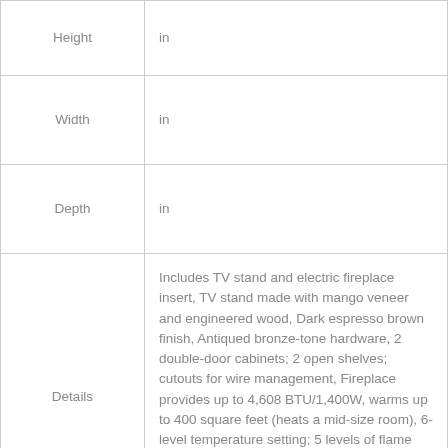| Attribute | Value |
| --- | --- |
| Height | in |
| Width | in |
| Depth | in |
| Details | Includes TV stand and electric fireplace insert, TV stand made with mango veneer and engineered wood, Dark espresso brown finish, Antiqued bronze-tone hardware, 2 double-door cabinets; 2 open shelves; cutouts for wire management, Fireplace provides up to 4,608 BTU/1,400W, warms up to 400 square feet (heats a mid-size room), 6-level temperature setting; 5 levels of flame brightness; LED-lit flame operating with or without heat , |